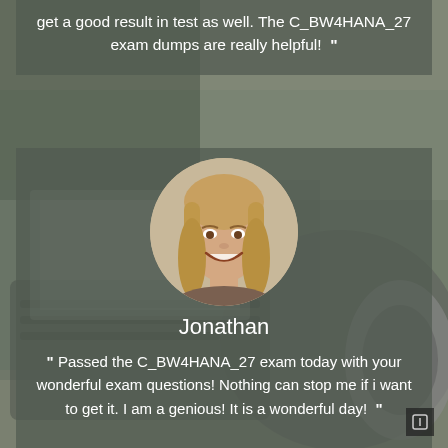get a good result in test as well. The C_BW4HANA_27 exam dumps are really helpful! ”
[Figure (photo): Circular portrait photo of a smiling young woman with long blonde hair]
Jonathan
“ Passed the C_BW4HANA_27 exam today with your wonderful exam questions! Nothing can stop me if i want to get it. I am a genious! It is a wonderful day! ”